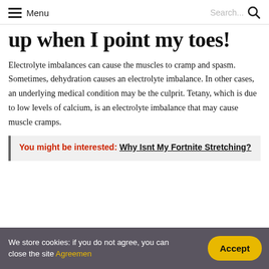Menu | Search...
up when I point my toes!
Electrolyte imbalances can cause the muscles to cramp and spasm. Sometimes, dehydration causes an electrolyte imbalance. In other cases, an underlying medical condition may be the culprit. Tetany, which is due to low levels of calcium, is an electrolyte imbalance that may cause muscle cramps.
You might be interested: Why Isnt My Fortnite Stretching?
We store cookies: if you do not agree, you can close the site Agreemen